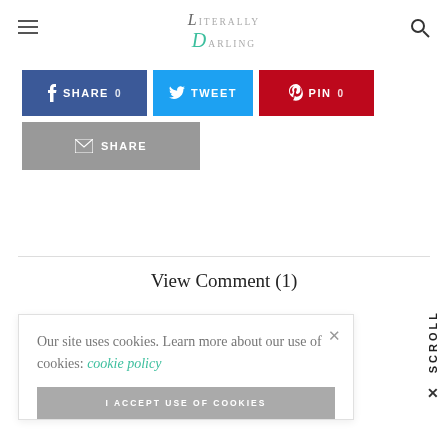Literally Darling — navigation header with hamburger menu, logo, and search icon
[Figure (screenshot): Social share buttons: Facebook SHARE 0, Twitter TWEET, Pinterest PIN 0, and email SHARE buttons]
View Comment (1)
Our site uses cookies. Learn more about our use of cookies: cookie policy
I ACCEPT USE OF COOKIES